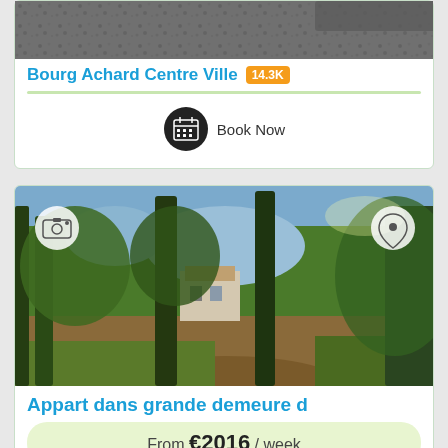[Figure (photo): Top portion of a dark gravel/ground texture photo, partially cropped]
Bourg Achard Centre Ville 14.3K
[Figure (illustration): Calendar/booking icon circle]
Book Now
[Figure (photo): Garden of a large French manor house with trees, greenery, and a path. Camera icon (top left) and map pin icon (top right) overlaid.]
Appart dans grande demeure d
From €2016 / week